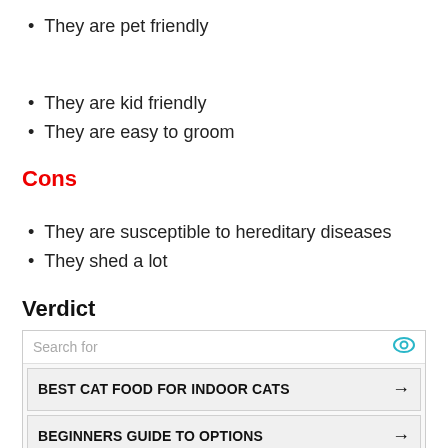They are pet friendly
They are kid friendly
They are easy to groom
Cons
They are susceptible to hereditary diseases
They shed a lot
Verdict
[Figure (other): Yahoo Search sponsored ad box with search field, two links: BEST CAT FOOD FOR INDOOR CATS and BEGINNERS GUIDE TO OPTIONS]